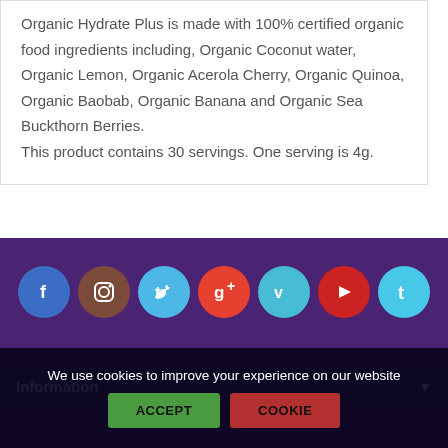Organic Hydrate Plus is made with 100% certified organic food ingredients including, Organic Coconut water, Organic Lemon, Organic Acerola Cherry, Organic Quinoa, Organic Baobab, Organic Banana and Organic Sea Buckthorn Berries.

This product contains 30 servings. One serving is 4g.
[Figure (other): Social media icons row: Facebook, Instagram, Twitter, Google+, Vimeo, YouTube, Tumblr — colored circles on purple background]
Information
We use cookies to improve your experience on our website
ACCEPT  COOKIE